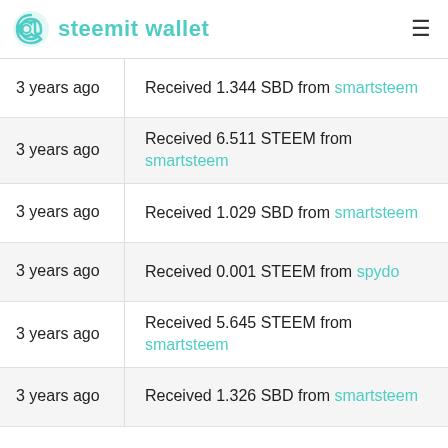steemit wallet
3 years ago — Received 1.344 SBD from smartsteem
3 years ago — Received 6.511 STEEM from smartsteem
3 years ago — Received 1.029 SBD from smartsteem
3 years ago — Received 0.001 STEEM from spydo
3 years ago — Received 5.645 STEEM from smartsteem
3 years ago — Received 1.326 SBD from smartsteem